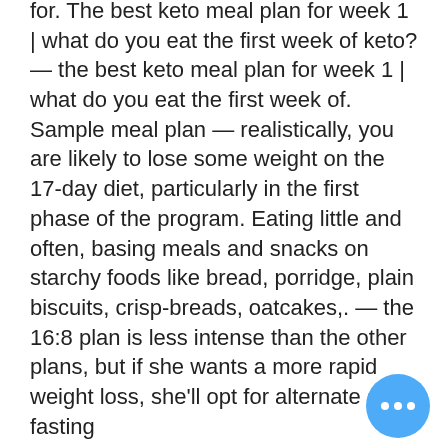for. The best keto meal plan for week 1 | what do you eat the first week of keto? — the best keto meal plan for week 1 | what do you eat the first week of. Sample meal plan — realistically, you are likely to lose some weight on the 17-day diet, particularly in the first phase of the program. Eating little and often, basing meals and snacks on starchy foods like bread, porridge, plain biscuits, crisp-breads, oatcakes,. — the 16:8 plan is less intense than the other plans, but if she wants a more rapid weight loss, she'll opt for alternate day fasting
Similar articles:
https://www.msjvermont.org/profile/courtneyhitch1975/profile
https://www.sjhalumniusa.org/profile/almetajablonski1988/profile
https://www.alfieandthegreatestcreatum/profile/ignaciohamon1979/profile
https://www.whatifcuriosity.com/profile/berylg